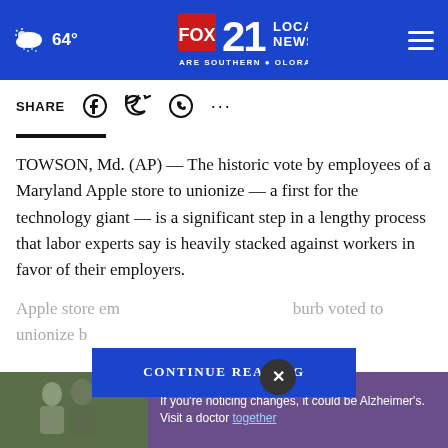FOX 21 LOCAL NEWS — WE ARE SOUTHERN COLORADO | 64°
SHARE
TOWSON, Md. (AP) — The historic vote by employees of a Maryland Apple store to unionize — a first for the technology giant — is a significant step in a lengthy process that labor experts say is heavily stacked against workers in favor of their employers.
Apple store em... burb voted to unionize...
CONTINUE READING
[Figure (photo): Two men outdoors, advertisement for Alzheimer's awareness. Text: If you're noticing changes, it could be Alzheimer's. Visit a doctor together.]